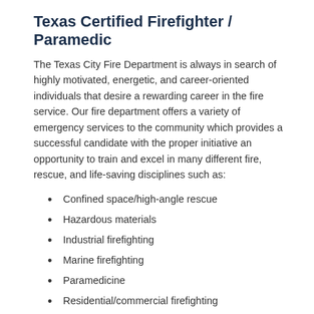Texas Certified Firefighter / Paramedic
The Texas City Fire Department is always in search of highly motivated, energetic, and career-oriented individuals that desire a rewarding career in the fire service. Our fire department offers a variety of emergency services to the community which provides a successful candidate with the proper initiative an opportunity to train and excel in many different fire, rescue, and life-saving disciplines such as:
Confined space/high-angle rescue
Hazardous materials
Industrial firefighting
Marine firefighting
Paramedicine
Residential/commercial firefighting
Water rescue
And more!